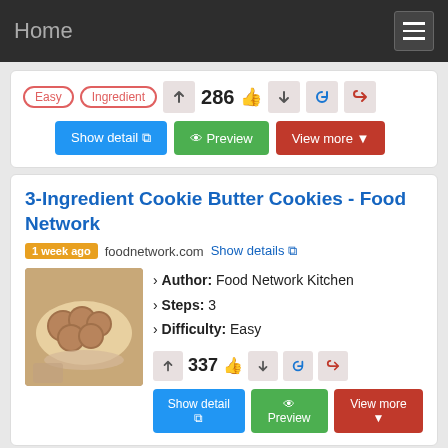Home
Easy  Ingredient  286
Show detail  Preview  View more
3-Ingredient Cookie Butter Cookies - Food Network
1 week ago  foodnetwork.com  Show details
› Author: Food Network Kitchen
› Steps: 3
› Difficulty: Easy
337
Show detail  Preview  View more